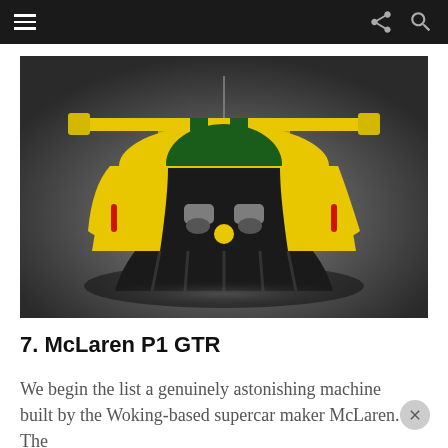Navigation bar with hamburger menu, share icon, and search icon
[Figure (photo): Rear view of a McLaren P1 GTR supercar in yellow and dark green livery, photographed in a studio against a grey gradient background. The car features a large rear wing and aggressive diffuser.]
7. McLaren P1 GTR
We begin the list a genuinely astonishing machine built by the Woking-based supercar maker McLaren. The